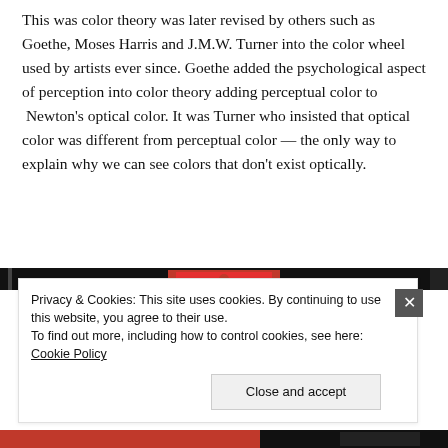This was color theory was later revised by others such as Goethe, Moses Harris and J.M.W. Turner into the color wheel used by artists ever since. Goethe added the psychological aspect of perception into color theory adding perceptual color to  Newton's optical color. It was Turner who insisted that optical color was different from perceptual color — the only way to explain why we can see colors that don't exist optically.
[Figure (other): Dark horizontal image strip, partially visible, with a red element in the center area]
Privacy & Cookies: This site uses cookies. By continuing to use this website, you agree to their use.
To find out more, including how to control cookies, see here: Cookie Policy
Close and accept
[Figure (other): Bottom image strip showing red and black horizontal bands, partially visible]